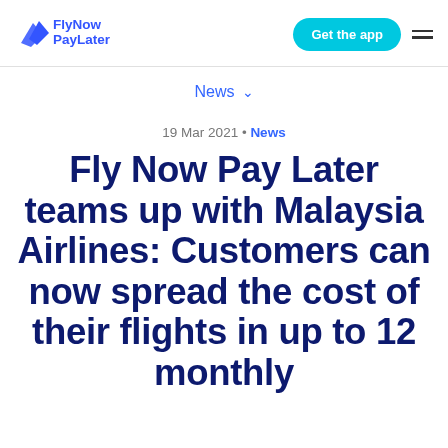FlyNow PayLater — Get the app
News
19 Mar 2021 • News
Fly Now Pay Later teams up with Malaysia Airlines: Customers can now spread the cost of their flights in up to 12 monthly